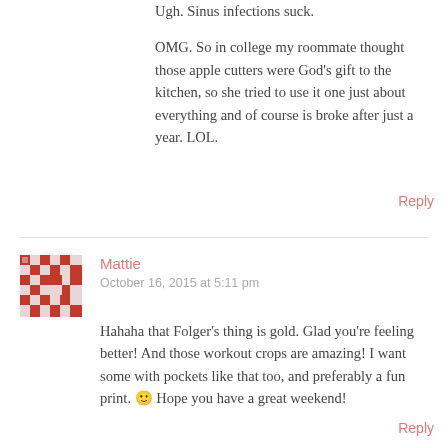Ugh. Sinus infections suck.
OMG. So in college my roommate thought those apple cutters were God's gift to the kitchen, so she tried to use it one just about everything and of course is broke after just a year. LOL.
Reply
[Figure (photo): Avatar/gravatar image for commenter Mattie - pixelated red and white pattern]
Mattie
October 16, 2015 at 5:11 pm
Hahaha that Folger's thing is gold. Glad you're feeling better! And those workout crops are amazing! I want some with pockets like that too, and preferably a fun print. 🙂 Hope you have a great weekend!
Reply